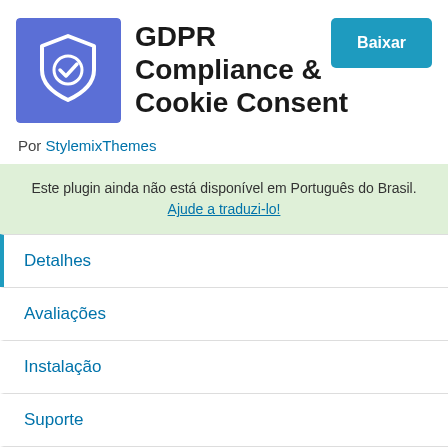[Figure (logo): Blue square icon with white shield and checkmark inside]
GDPR Compliance & Cookie Consent
Baixar
Por StylemixThemes
Este plugin ainda não está disponível em Português do Brasil. Ajude a traduzi-lo!
Detalhes
Avaliações
Instalação
Suporte
Desenvolvimento